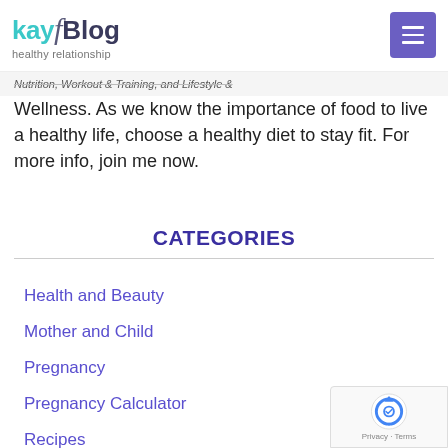kayf Blog - healthy relationship
Nutrition, Workout & Training, and Lifestyle & Wellness. As we know the importance of food to live a healthy life, choose a healthy diet to stay fit. For more info, join me now.
CATEGORIES
Health and Beauty
Mother and Child
Pregnancy
Pregnancy Calculator
Recipes
Religion and life